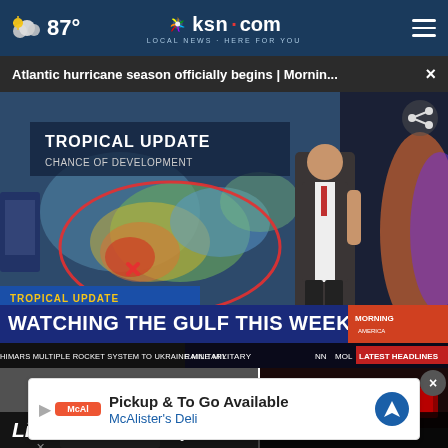87° | ksn.com LOCAL NEWS · HERE FOR YOU
Atlantic hurricane season officially begins | Mornin... ×
[Figure (screenshot): TV news broadcast screenshot showing a meteorologist standing in front of a large weather map with TROPICAL UPDATE / CHANCE OF DEVELOPMENT overlay. The lower-third chyron reads 'TROPICAL UPDATE' and 'WATCHING THE GULF THIS WEEK' with Morning America logo. Ticker at bottom shows: HIMARS MULTIPLE ROCKET SYSTEM TO UKRAINE MILITARY | NN | MOL | LATEST HEADLINES | NEWSNATION]
[Figure (screenshot): Two thumbnail images below the main video - left shows a person being restrained, right shows a dark red LED display board]
Pickup & To Go Available
McAlister's Deli
Live 2 OR Co...? | Photos: